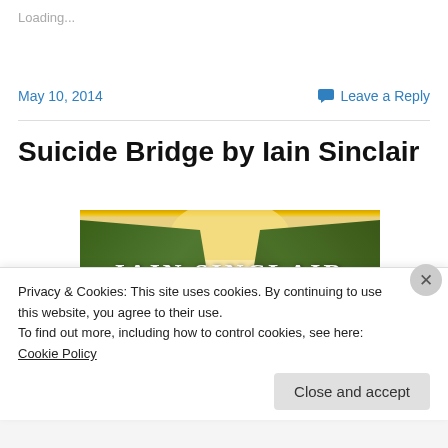Loading...
May 10, 2014
Leave a Reply
Suicide Bridge by Iain Sinclair
[Figure (photo): Book cover image for Iain Sinclair featuring green rocky landscape with the text 'IAIN SINCLAIR' in large serif letters]
Privacy & Cookies: This site uses cookies. By continuing to use this website, you agree to their use.
To find out more, including how to control cookies, see here: Cookie Policy